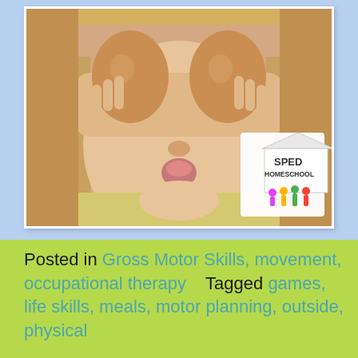[Figure (photo): Child holding two brown eggs in front of their eyes like glasses, making a funny face, with SPED Homeschool logo overlay in bottom right corner. Photo has white border/frame on light blue background.]
Posted in Gross Motor Skills, movement, occupational therapy   Tagged games, life skills, meals, motor planning, outside, physical